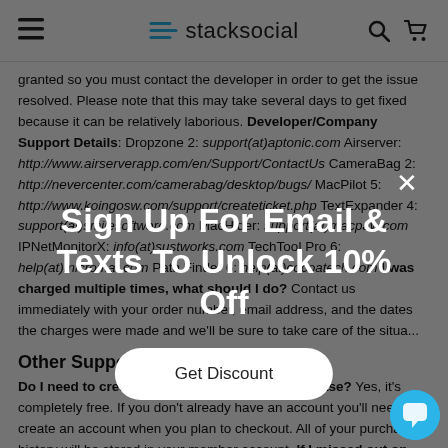stacksocial
granted so you must contact the developer in order to get the issue resolved. Please note that this may take several days to get fixed because it can be relatively laborious. Developer/Company Support Details: Dropzone 2: support(at)aptonic.com Airserver: http://www.airserverapp.com/en/Support/ContactUs CameraBag 2: http://nevercenter.com/camerabag/desktop/bugs/ MacPilot 5: http://www.koingosw.com/support/createticket.php TextExpander 4: support(at)smilesoftware.com MacHider: support(at)macpaw.com IPNetMonitorX: info(at)sustworks.com TechTool Pro 6: help(at)micromat.com Path Finder 6: help(at)cocoatech.com I was charged multiple times, what should I do? Contact us immediately with your order number, email address, and the dates the charges were made and we'll be sure to take care of the situa...
Other Support Related Questions
Do I need to create an account to make a purchase? Yes, it's completely free. If you don't already have an account you'll need to create an account when you plan to checkout. All of your purchase history will be stored in your member account. If I missed out on the sale ...
[Figure (screenshot): Popup overlay with 'Sign Up For Email & Texts To Unlock 10% Off' heading and 'Get Discount' button]